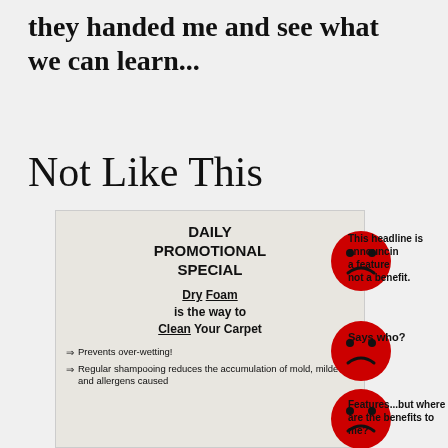they handed me and see what we can learn...
Not Like This
[Figure (illustration): A promotional flyer for carpet cleaning with 'DAILY PROMOTIONAL SPECIAL', 'Dry Foam is the way to Clean Your Carpet', bullet points about benefits, annotated with three red sad-face emoji circles and text callouts: 'This headline is announcing a feature not a benefit.', 'Says who?', 'Features...but where are the benefits to me?']